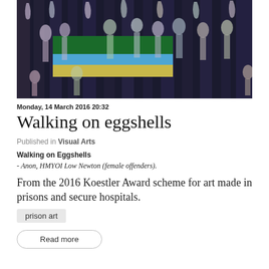[Figure (illustration): Colorful artwork showing abstract human figures and tree-like forms on a dark background, with blue, green, yellow and purple tones. Prison artwork from the 2016 Koestler Award scheme.]
Monday, 14 March 2016 20:32
Walking on eggshells
Published in Visual Arts
Walking on Eggshells
- Anon, HMYOI Low Newton (female offenders).
From the 2016 Koestler Award scheme for art made in prisons and secure hospitals.
prison art
Read more